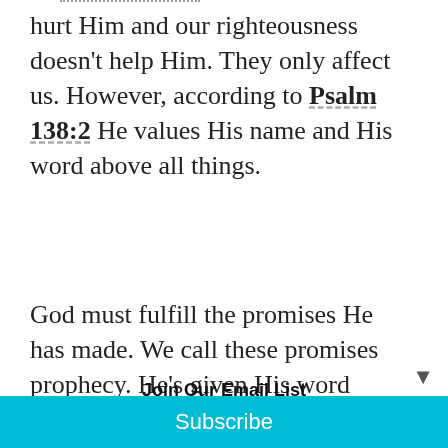hurt Him and our righteousness doesn't help Him. They only affect us. However, according to Psalm 138:2 He values His name and His word above all things.
God must fulfill the promises He has made. We call these promises prophecy. He's given His word that h will do all He says (Isaiah 46:11)
Join Our Email List
Your email address
Subscribe